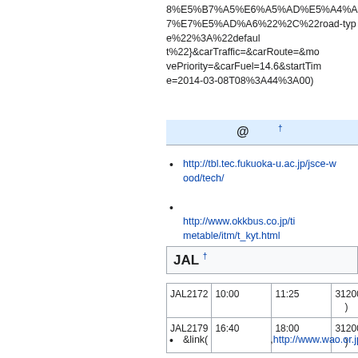8%E5%B7%A5%E6%A5%AD%E5%A4%A7%E7%E5%AD%A6%22%2C%22road-type%22%3A%22default%22}&carTraffic=&carRoute=&movePriority=&carFuel=14.6&startTime=2014-03-08T08%3A44%3A00) □□□□□□□□□□□□□□□
□□□□□@□□ †
http://tbl.tec.fukuoka-u.ac.jp/jsce-wood/tech/
□□□□□□□□□ http://www.okkbus.co.jp/timetable/itm/t_kyt.html
JAL †
| JAL2172 | 10:00□□ | 11:25□□□□ | 31200(□□□□) |
| JAL2179 | 16:40□□□□ | 18:00□□ | 31200(□□□□) |
&link(□□□□□□□,http://www.wao.or.jp/uji...